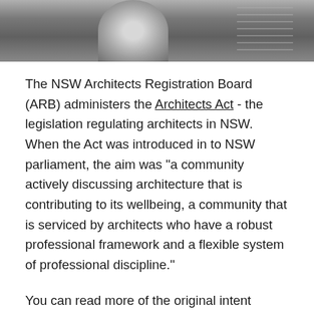[Figure (photo): Black and white photograph showing a person in white clothing, partially cropped at top of page, with a grid-like structure visible in the background.]
The NSW Architects Registration Board (ARB) administers the Architects Act - the legislation regulating architects in NSW. When the Act was introduced in to NSW parliament, the aim was "a community actively discussing architecture that is contributing to its wellbeing, a community that is serviced by architects who have a robust professional framework and a flexible system of professional discipline."
You can read more of the original intent behind the Act in the Second Reading speech on 21 May and 27 May 2003.
The Board's key role is to protect consumers of architectural services by ensuring that architects provide services to the public in a professional and competent